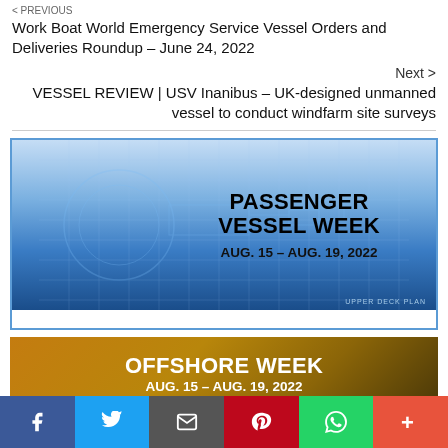< PREVIOUS
Work Boat World Emergency Service Vessel Orders and Deliveries Roundup – June 24, 2022
Next >
VESSEL REVIEW | USV Inanibus – UK-designed unmanned vessel to conduct windfarm site surveys
[Figure (illustration): Advertisement banner for Passenger Vessel Week, AUG. 15 – AUG. 19, 2022, with blue naval blueprint background]
[Figure (illustration): Advertisement banner for Offshore Week, AUG. 15 – AUG. 19, 2022, with golden/brown background]
Social share bar: Facebook, Twitter, Email, Pinterest, WhatsApp, More